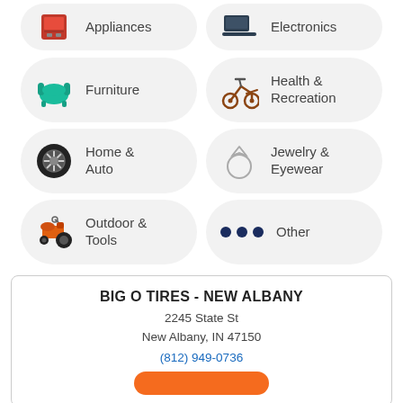[Figure (screenshot): Category pills: Appliances and Electronics (partial, top)]
Furniture
Health & Recreation
Home & Auto
Jewelry & Eyewear
Outdoor & Tools
Other
BIG O TIRES - NEW ALBANY
2245 State St
New Albany, IN 47150
(812) 949-0736